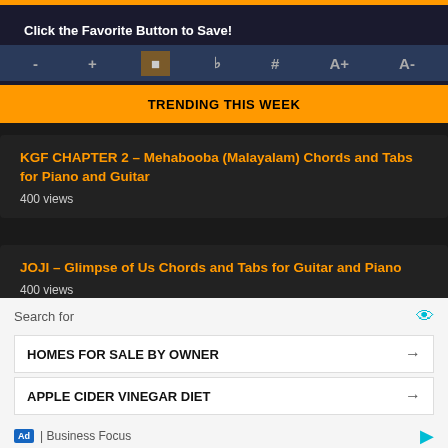Click the Favorite Button to Save!
TRENDING THIS WEEK
KGF CHAPTER 2 – Mehabooba (Malayalam) Chords and Tabs for Piano and Guitar
400 views
JOJI – Glimpse of Us Chords and Tabs for Guitar and Piano
400 views
KINA feat SNOW – Get You The Moon Chords and Lyrics
300 views
Search for
HOMES FOR SALE BY OWNER →
APPLE CIDER VINEGAR DIET →
Ad | Business Focus